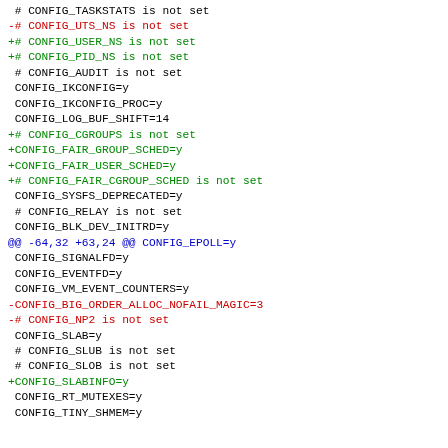diff/patch output showing kernel config changes